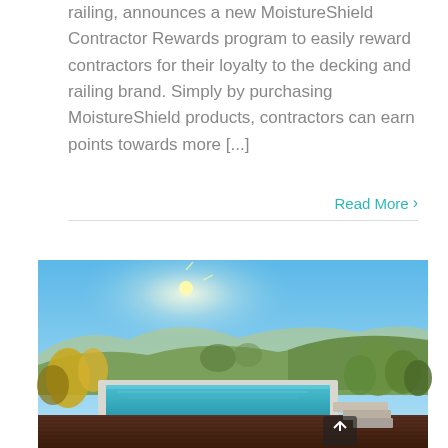railing, announces a new MoistureShield Contractor Rewards program to easily reward contractors for their loyalty to the decking and railing brand. Simply by purchasing MoistureShield products, contractors can earn points towards more [...]
Read More ›
[Figure (photo): Outdoor swimming pool with dark wood decking surrounded by lush greenery and hills under a clear blue sky with bright sunlight]